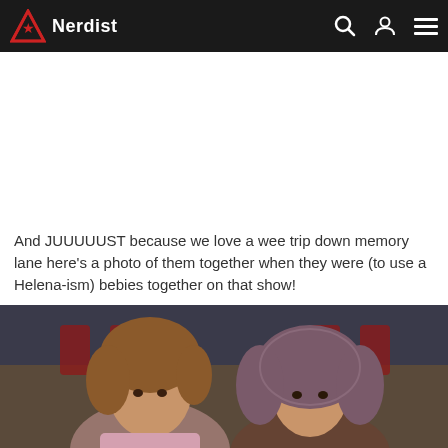Nerdist
[Figure (other): White advertisement/blank space area below nav bar]
And JUUUUUST because we love a wee trip down memory lane here's a photo of them together when they were (to use a Helena-ism) bebies together on that show!
[Figure (photo): Photo of two young women sitting together — one with curly hair wearing a pink top, the other wearing a patterned headscarf — in what appears to be a classroom or school setting with red chairs in the background.]